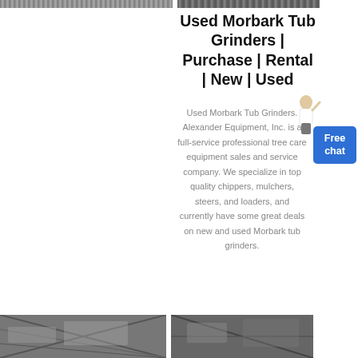[Figure (photo): Top strip image on left column, partially visible]
[Figure (photo): Top strip image on right column, partially visible]
Used Morbark Tub Grinders | Purchase | Rental | New | Used
[Figure (illustration): Customer service agent illustration beside Free chat button]
[Figure (other): Free chat button - blue rounded rectangle with text 'Free chat']
Used Morbark Tub Grinders. Alexander Equipment, Inc. is a full-service professional tree care equipment sales and service company. We specialize in top quality chippers, mulchers, steers, and loaders, and currently have some great deals on new and used Morbark tub grinders.
[Figure (photo): Bottom-left equipment photo]
[Figure (photo): Bottom-right equipment photo]